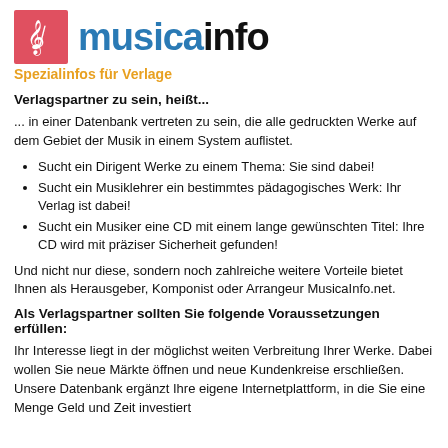[Figure (logo): musicainfo logo with red box containing treble clef, blue 'musica' and black 'info' text]
Spezialinfos für Verlage
Verlagspartner zu sein, heißt...
... in einer Datenbank vertreten zu sein, die alle gedruckten Werke auf dem Gebiet der Musik in einem System auflistet.
Sucht ein Dirigent Werke zu einem Thema: Sie sind dabei!
Sucht ein Musiklehrer ein bestimmtes pädagogisches Werk: Ihr Verlag ist dabei!
Sucht ein Musiker eine CD mit einem lange gewünschten Titel: Ihre CD wird mit präziser Sicherheit gefunden!
Und nicht nur diese, sondern noch zahlreiche weitere Vorteile bietet Ihnen als Herausgeber, Komponist oder Arrangeur MusicaInfo.net.
Als Verlagspartner sollten Sie folgende Voraussetzungen erfüllen:
Ihr Interesse liegt in der möglichst weiten Verbreitung Ihrer Werke. Dabei wollen Sie neue Märkte öffnen und neue Kundenkreise erschließen. Unsere Datenbank ergänzt Ihre eigene Internetplattform, in die Sie eine Menge Geld und Zeit investiert